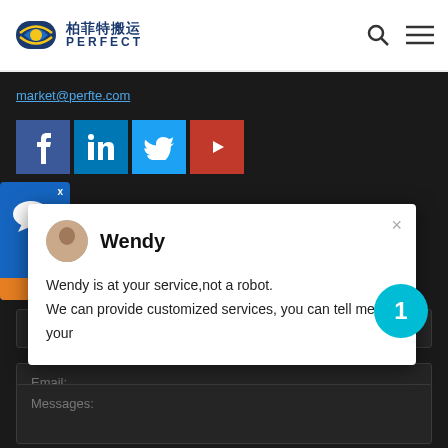[Figure (logo): Perfect (柏菲特搬运) company logo with circular icon and company name in Chinese and English]
market@perfte.com
[Figure (infographic): Social media buttons row: Facebook, LinkedIn, Twitter, YouTube]
[Figure (screenshot): Chat popup card showing agent Wendy with avatar. Text: Wendy is at your service,not a robot. We can provide customized services, you can tell me your]
Name:
Email:
Messages: